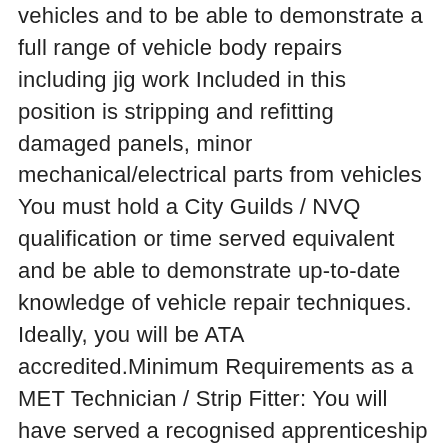vehicles and to be able to demonstrate a full range of vehicle body repairs including jig work Included in this position is stripping and refitting damaged panels, minor mechanical/electrical parts from vehicles You must hold a City Guilds / NVQ qualification or time served equivalent and be able to demonstrate up-to-date knowledge of vehicle repair techniques. Ideally, you will be ATA accredited.Minimum Requirements as a MET Technician / Strip Fitter: You will have served a recognised apprenticeship as a Panel Beater and gained a technical qualification (such as NVQ / ATA or equivalent). Have previous experience working as a Panel Beater Be a strong team player with the self-motivation to earn bonus hours. Will work to the highest standard and demonstrate a sound up-to-date knowledge of vehicle repair technique with the ability to work efficiently in a fast-paced accident repair centre. If you want to hear more about the Bodyshop Manager role, please send us your CV by clicking 'apply now' or by contacting us on (phone number